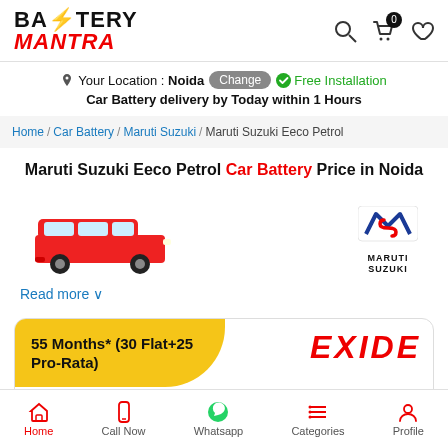BATTERY MANTRA
Your Location : Noida  Change  Free Installation
Car Battery delivery by Today within 1 Hours
Home / Car Battery / Maruti Suzuki / Maruti Suzuki Eeco Petrol
Maruti Suzuki Eeco Petrol Car Battery Price in Noida
[Figure (photo): Red Maruti Suzuki Eeco van and Maruti Suzuki brand logo]
Read more ∨
55 Months* (30 Flat+25 Pro-Rata)
EXIDE
Exide Mileage ML38B20L 35Ah Car Battery
Home  Call Now  Whatsapp  Categories  Profile